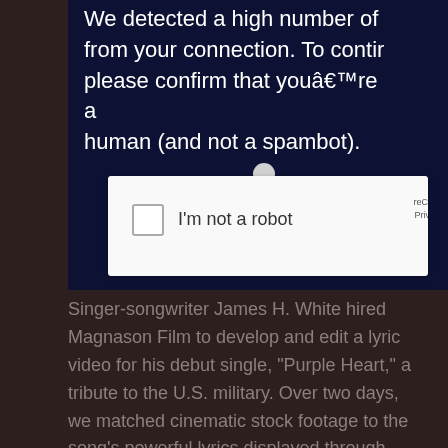[Figure (screenshot): A CAPTCHA verification screenshot with dark navy background showing text 'We detected a high number of from your connection. To contin please confirm that youâ€™re a human (and not a spambot).' and a reCAPTCHA checkbox widget with 'I'm not a robot' text partially visible, cut off on the right side.]
Singer-songwriter James H. White hired Magnason Film to develop and edit a lyric video for his debut single, “Purple Heart,” a tribute to the U.S. military. Over two days, we matched cinematic stock footage to the song's powerful lyrics displayed through motion graphics. We then added